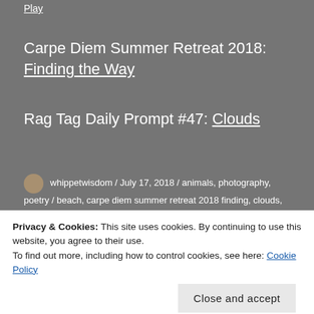Play
Carpe Diem Summer Retreat 2018: Finding the Way
Rag Tag Daily Prompt #47: Clouds
whippetwisdom / July 17, 2018 / animals, photography, poetry / beach, carpe diem summer retreat 2018 finding, clouds, dogphotography, fpj photo challenge, haiku
Privacy & Cookies: This site uses cookies. By continuing to use this website, you agree to their use.
To find out more, including how to control cookies, see here: Cookie Policy
Close and accept
Achany Forest